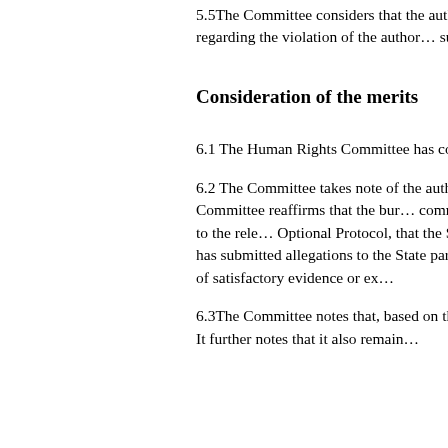5.5The Committee considers that the author's remaining claims under article 6 (para. 1), article 7, article 9 in relation to his detention, as well as the claims regarding the violation of the author's rights are substantiated for the purposes of admissibility. It therefore proceeds to examination on the merits.
Consideration of the merits
6.1 The Human Rights Committee has considered the present communication to it, in accordance with article 5, paragraph 1, of the Optional Protocol.
6.2 The Committee takes note of the author's claims regarding his unfair trial and his enforced disappearance. The Committee also notes the State party's failure to address any of these claims. The Committee reaffirms that the burden of proof cannot rest solely on the author of the communication, especially considering that the author and the State party do not always have equal access and that frequently the State party alone has access to the relevant information. It is implicit in article 4, paragraph 2, of the Optional Protocol, that the State party has the duty to investigate in good faith all allegations of violations of the Covenant made against it and its representatives and to provide the Committee with the information available to it. In cases where the author has submitted allegations to the State party that are corroborated by evidence submitted and where further clarification of the case depends on information that is solely in the hands of the State party, the Committee may consider such allegations substantiated in the absence of satisfactory evidence or explanations to the contrary from the State party.
6.3The Committee notes that, based on the uncontested information before it, the author was tried and sentenced to life imprisonment, and since that time has had no contact with members of the family. It further notes that it also remains uncontested that